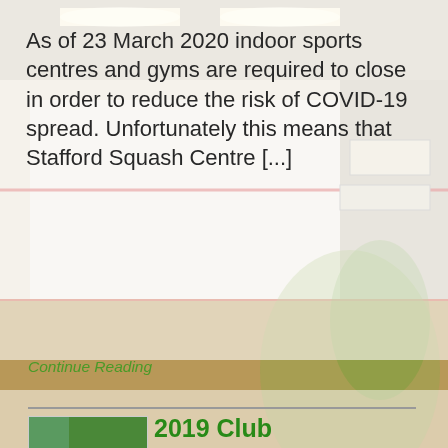As of 23 March 2020 indoor sports centres and gyms are required to close in order to reduce the risk of COVID-19 spread. Unfortunately this means that Stafford Squash Centre [...]
Continue Reading
[Figure (photo): Three people standing together outdoors, thumbnail image for 2019 Club Championships article]
2019 Club Championships
By Mike Healy on ... 2019 in Club News, Events, News
We had 24 eagar players for this year's club championship title across three divisions. It was